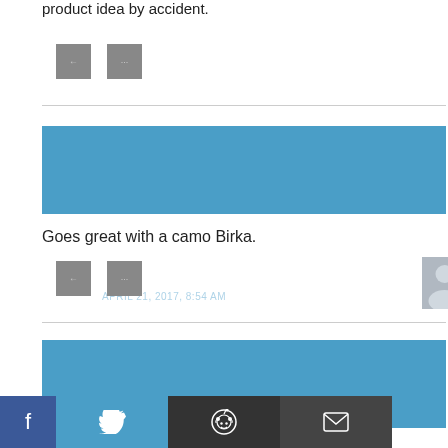product idea by accident.
[Figure (other): Two small grey action buttons (reply/comment icons)]
Griffendad — APRIL 21, 2017, 8:54 AM
Goes great with a camo Birka.
[Figure (other): Two small grey action buttons (reply/comment icons)]
Darren P. — APRIL 21, 2017, 8:60 AM
d by the liberals
[Figure (other): Social sharing bar with Facebook, Twitter, Reddit, Email icons]